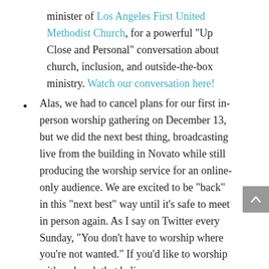minister of Los Angeles First United Methodist Church, for a powerful “Up Close and Personal” conversation about church, inclusion, and outside-the-box ministry. Watch our conversation here!
Alas, we had to cancel plans for our first in-person worship gathering on December 13, but we did the next best thing, broadcasting live from the building in Novato while still producing the worship service for an online-only audience. We are excited to be “back” in this “next best” way until it’s safe to meet in person again. As I say on Twitter every Sunday, “You don’t have to worship where you’re not wanted.” If you’d like to worship with a church that believes #BlackLivesMatter, that celebrates LGBTQ+ identities and relationship as sacred and that acknowledges the gifts and callings of all genders for all levels of leadership,